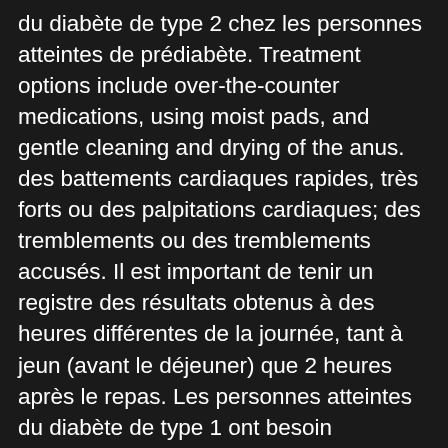du diabète de type 2 chez les personnes atteintes de prédiabète. Treatment options include over-the-counter medications, using moist pads, and gentle cleaning and drying of the anus. des battements cardiaques rapides, très forts ou des palpitations cardiaques; des tremblements ou des tremblements accusés. Il est important de tenir un registre des résultats obtenus à des heures différentes de la journée, tant à jeun (avant le déjeuner) que 2 heures après le repas. Les personnes atteintes du diabète de type 1 ont besoin d'insuline* tous les jours pour survivre. Glucose or Essential Amino Acid Infusions in Late Pregnant and Early Lactating Simmenthal Cows Failed to Induce a Leptin Response. Diabetic nerve damage can affect the nerves that are important